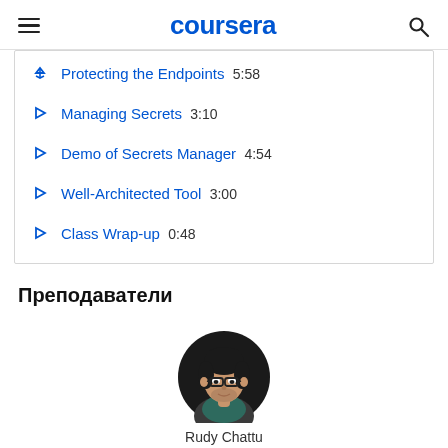coursera
Protecting the Endpoints  5:58
Managing Secrets  3:10
Demo of Secrets Manager  4:54
Well-Architected Tool  3:00
Class Wrap-up  0:48
Преподаватели
[Figure (photo): Circular portrait photo of instructor Rudy Chattu, a man with glasses and dark hair against a dark background]
Rudy Chattu